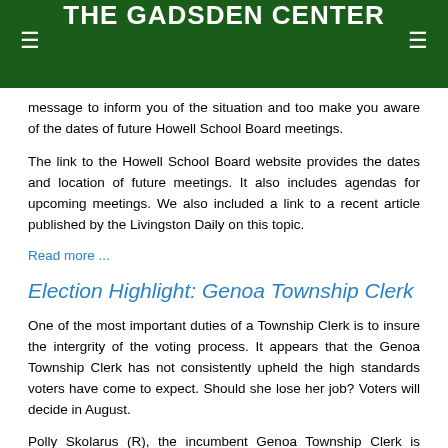THE GADSDEN CENTER
message to inform you of the situation and too make you aware of the dates of future Howell School Board meetings.
The link to the Howell School Board website provides the dates and location of future meetings. It also includes agendas for upcoming meetings. We also included a link to a recent article published by the Livingston Daily on this topic.
Read more ...
Election Highlight: Genoa Township Clerk
One of the most important duties of a Township Clerk is to insure the intergrity of the voting process. It appears that the Genoa Township Clerk has not consistently upheld the high standards voters have come to expect. Should she lose her job? Voters will decide in August.
Polly Skolarus (R), the incumbent Genoa Township Clerk is facing a primary challenge in the upcoming August 2 election. She is being challenged by Dan Wholihan (R), Chair of the Livingston County Republican Party.